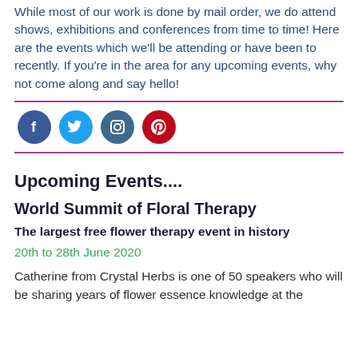While most of our work is done by mail order, we do attend shows, exhibitions and conferences from time to time! Here are the events which we'll be attending or have been to recently. If you're in the area for any upcoming events, why not come along and say hello!
[Figure (infographic): Social media icons: Facebook (dark blue circle), Twitter (light blue circle), Instagram (teal circle), Pinterest (red circle)]
Upcoming Events....
World Summit of Floral Therapy
The largest free flower therapy event in history
20th to 28th June 2020
Catherine from Crystal Herbs is one of 50 speakers who will be sharing years of flower essence knowledge at the